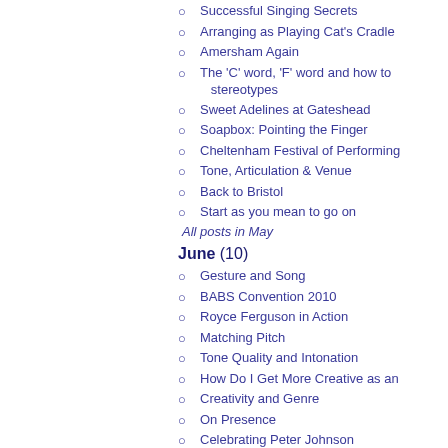Successful Singing Secrets
Arranging as Playing Cat's Cradle
Amersham Again
The 'C' word, 'F' word and how to stereotypes
Sweet Adelines at Gateshead
Soapbox: Pointing the Finger
Cheltenham Festival of Performing
Tone, Articulation & Venue
Back to Bristol
Start as you mean to go on
All posts in May
June (10)
Gesture and Song
BABS Convention 2010
Royce Ferguson in Action
Matching Pitch
Tone Quality and Intonation
How Do I Get More Creative as an
Creativity and Genre
On Presence
Celebrating Peter Johnson
Soapbox: On Rehearsal Preparati
All posts in June
2009 (154 posts)
January (14)
On Mechanical Singing